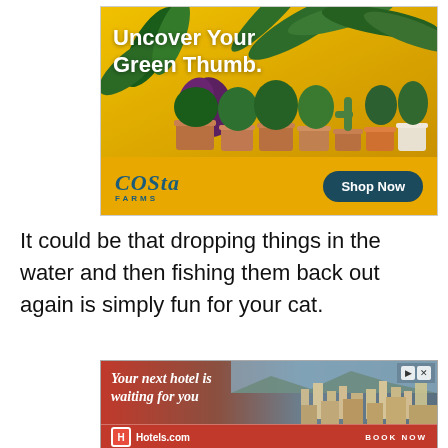[Figure (illustration): Costa Farms advertisement with yellow background, multiple potted plants, headline 'Uncover Your Green Thumb.', Costa Farms logo, and 'Shop Now' button]
It could be that dropping things in the water and then fishing them back out again is simply fun for your cat.
[Figure (illustration): Hotels.com advertisement with red background, cityscape photo, text 'Your next hotel is waiting for you', Hotels.com logo, and 'BOOK NOW' call to action]